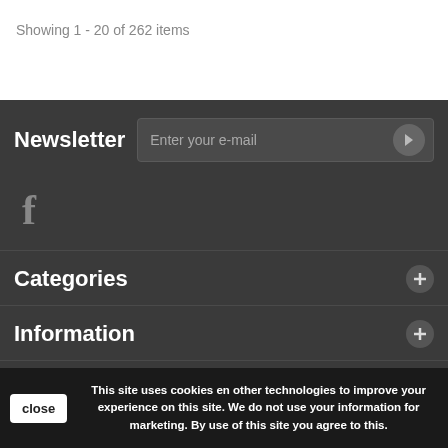Showing 1 - 20 of 262 items
Newsletter
Enter your e-mail
[Figure (illustration): Facebook icon (letter f)]
Categories
Information
My account
This site uses cookies en other technologies to improve your experience on this site. We do not use your information for marketing. By use of this site you agree to this.